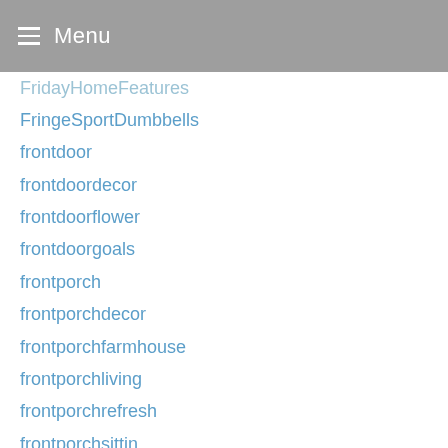Menu
FridayHomeFeatures
FringeSportDumbbells
frontdoor
frontdoordecor
frontdoorflower
frontdoorgoals
frontporch
frontporchdecor
frontporchfarmhouse
frontporchliving
frontporchrefresh
frontporchsittin
frontporchswing
frontroom
FrugalFun
functionalspace
FunTimes